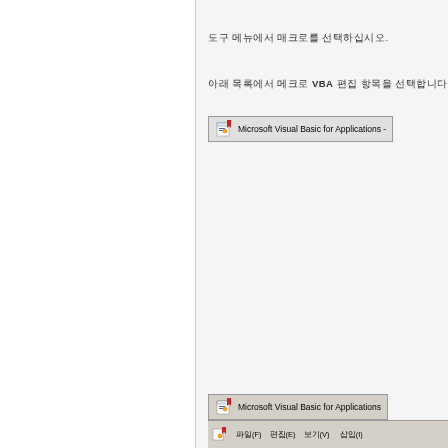도구 메뉴에서 매크로를 선택하십시오.
아래 목록에서 메크로 VBA 편집 항목을 선택합니다.
[Figure (screenshot): Windows taskbar button showing Microsoft Visual Basic for Applications]
[Figure (screenshot): Windows taskbar with Microsoft Visual Basic for Applications button and bottom toolbar with Korean menu items]